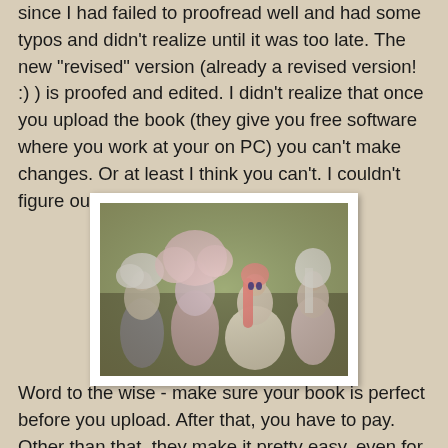since I had failed to proofread well and had some typos and didn't realize until it was too late. The new "revised" version (already a revised version! :) ) is proofed and edited. I didn't realize that once you upload the book (they give you free software where you work at your on PC) you can't make changes. Or at least I think you can't. I couldn't figure out how in any case.
[Figure (photo): A photograph showing four dolls with elaborate hair (white fluffy, pink, and other colors) sitting outdoors on grass, wearing fancy dresses. The photo has a vintage/aged look with a white border like a printed photograph.]
Word to the wise - make sure your book is perfect before you upload. After that, you have to pay. Other than that, they make it pretty easy, even for those who love technology but...